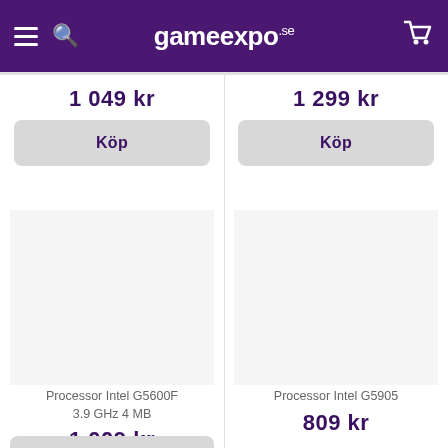gameexpo.se
1 049 kr
Köp
1 299 kr
Köp
Processor Intel G5600F 3.9 GHz 4 MB
1 009 kr
Köp
Processor Intel G5905
809 kr